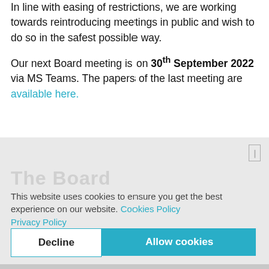In line with easing of restrictions, we are working towards reintroducing meetings in public and wish to do so in the safest possible way.

Our next Board meeting is on 30th September 2022 via MS Teams. The papers of the last meeting are available here.
This website uses cookies to ensure you get the best experience on our website. Cookies Policy Privacy Policy
Decline | Allow cookies